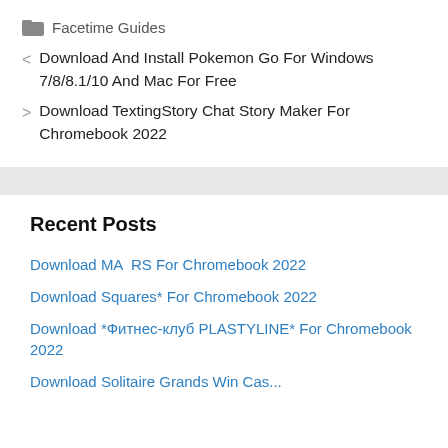Facetime Guides
< Download And Install Pokemon Go For Windows 7/8/8.1/10 And Mac For Free
> Download TextingStory Chat Story Maker For Chromebook 2022
Recent Posts
Download MA RS For Chromebook 2022
Download Squares* For Chromebook 2022
Download *Фитнес-клуб PLASTYLINE* For Chromebook 2022
Download Solitaire Grands Win Cas...For...